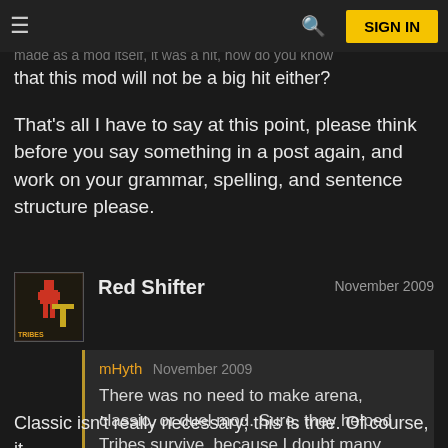≡  [search icon]  SIGN IN
generation will branch out into playing more than just
[faded text] ...base. It was... [faded]
made as a mod itself, it was a hit, how do you know
that this mod will not be a big hit either?
That's all I have to say at this point, please think before you say something in a post again, and work on your grammar, spelling, and sentence structure please.
Red Shifter  November 2009
mHyth November 2009
There was no need to make arena, classic, or duel mod. Sure, they helped Tribes survive, because I doubt many people like base, but they were a want, not a need.
Classic isn't really necessary; this is true. Of course, it